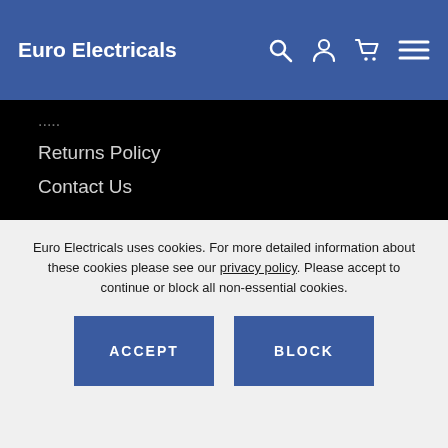Euro Electricals
Returns Policy
Contact Us
FOLLOW US
[Figure (logo): Facebook logo icon — white rounded square with 'f' letter]
Euro Electricals uses cookies. For more detailed information about these cookies please see our privacy policy. Please accept to continue or block all non-essential cookies.
ACCEPT
BLOCK